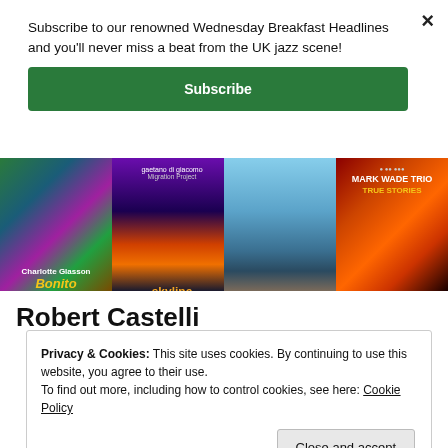Subscribe to our renowned Wednesday Breakfast Headlines and you'll never miss a beat from the UK jazz scene!
Subscribe
[Figure (photo): Strip of four jazz album covers: Charlotte Glasson Bonito, Gaetano di Giacomo Migration Project skyline, a landscape album, and Mark Wade Trio True Stories]
Robert Castelli
Privacy & Cookies: This site uses cookies. By continuing to use this website, you agree to their use.
To find out more, including how to control cookies, see here: Cookie Policy
Close and accept